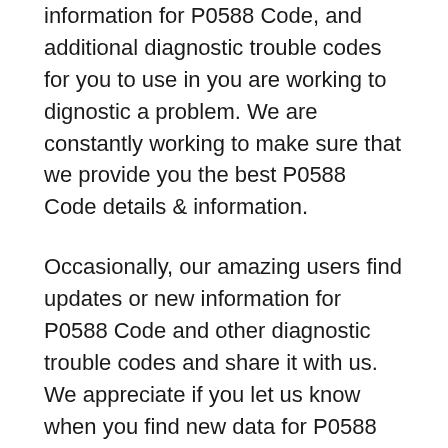information for P0588 Code, and additional diagnostic trouble codes for you to use in you are working to dignostic a problem. We are constantly working to make sure that we provide you the best P0588 Code details & information.
Occasionally, our amazing users find updates or new information for P0588 Code and other diagnostic trouble codes and share it with us. We appreciate if you let us know when you find new data for P0588 Code or any other diagnostic trouble codes. Pleas use the contact us page or the comments form below. We will verify the information and publish it